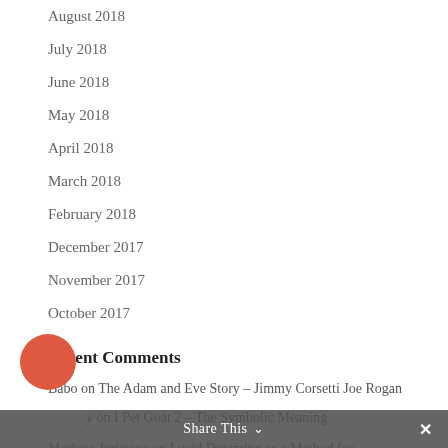August 2018
July 2018
June 2018
May 2018
April 2018
March 2018
February 2018
December 2017
November 2017
October 2017
Recent Comments
Babo on The Adam and Eve Story – Jimmy Corsetti Joe Rogan
y on I Pet Goat 2 – The Symbolic Meaning
Marketa Juristova on Lucid Dreaming as a Method for
Share This